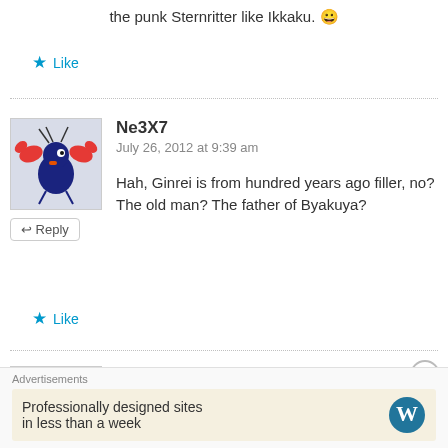the punk Sternritter like Ikkaku. 😀
★ Like
Ne3X7
July 26, 2012 at 9:39 am
Hah, Ginrei is from hundred years ago filler, no? The old man? The father of Byakuya?
★ Like
Sunite
Advertisements
Professionally designed sites in less than a week